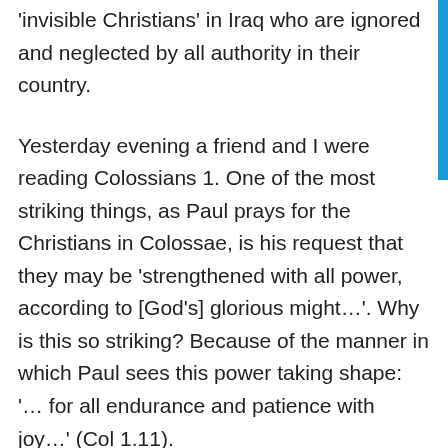'invisible Christians' in Iraq who are ignored and neglected by all authority in their country.
Yesterday evening a friend and I were reading Colossians 1. One of the most striking things, as Paul prays for the Christians in Colossae, is his request that they may be ‘strengthened with all power, according to [God’s] glorious might…’. Why is this so striking? Because of the manner in which Paul sees this power taking shape: ‘… for all endurance and patience with joy…’ (Col 1.11).